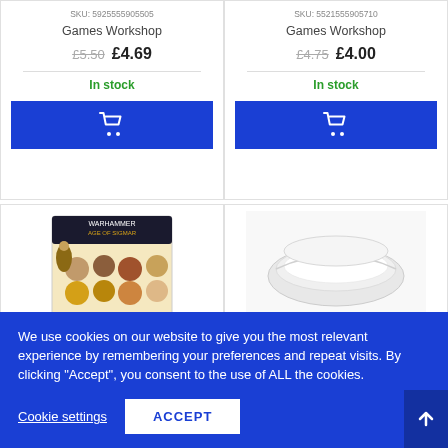SKU: 5925555905505
SKU: 5521555905710
Games Workshop
Games Workshop
£5.50 £4.69
£4.75 £4.00
In stock
In stock
[Figure (screenshot): Blue add to cart button with shopping cart icon]
[Figure (screenshot): Blue add to cart button with shopping cart icon]
[Figure (photo): Product image: Warhammer Age of Sigmar bases/paints set]
[Figure (photo): Product image: White plastic item]
We use cookies on our website to give you the most relevant experience by remembering your preferences and repeat visits. By clicking "Accept", you consent to the use of ALL the cookies.
Cookie settings
ACCEPT